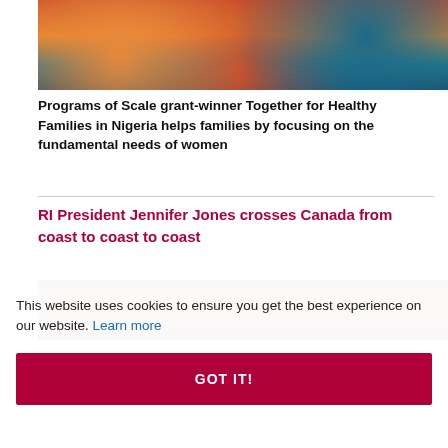[Figure (illustration): Colorful illustrated graphic showing people in a healthcare or community setting with warm orange and teal tones]
Programs of Scale grant-winner Together for Healthy Families in Nigeria helps families by focusing on the fundamental needs of women
RI President Jennifer Jones crosses Canada from coast to coast to coast
[Figure (photo): Photo of a room with wooden paneling, a Canadian flag visible in the background and camera equipment on the right]
This website uses cookies to ensure you get the best experience on our website. Learn more
GOT IT!